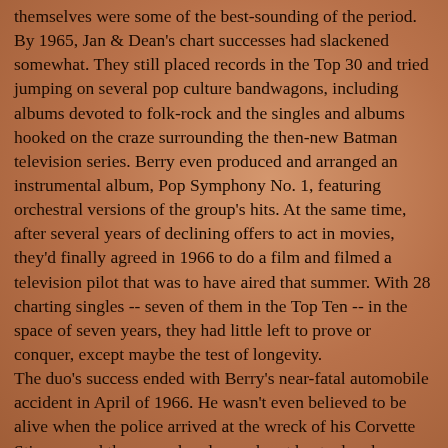themselves were some of the best-sounding of the period. By 1965, Jan & Dean's chart successes had slackened somewhat. They still placed records in the Top 30 and tried jumping on several pop culture bandwagons, including albums devoted to folk-rock and the singles and albums hooked on the craze surrounding the then-new Batman television series. Berry even produced and arranged an instrumental album, Pop Symphony No. 1, featuring orchestral versions of the group's hits. At the same time, after several years of declining offers to act in movies, they'd finally agreed in 1966 to do a film and filmed a television pilot that was to have aired that summer. With 28 charting singles -- seven of them in the Top Ten -- in the space of seven years, they had little left to prove or conquer, except maybe the test of longevity. The duo's success ended with Berry's near-fatal automobile accident in April of 1966. He wasn't even believed to be alive when the police arrived at the wreck of his Corvette Stingray and there was barely any heart beat when he was cut out of the car. It took years for Berry to recover even partially, learning how to walk and talk all over again, and the duo's music, apart from a group of releases on Warner Bros. and Columbia that were scarcely heard, was relegated to the status of oldies. Any musical advancement was impossible in the circumstances, and Torrence, who'd always had an interest in art, became a successful graphic designer, as well as continuing to sing on other artists' records. Eventually the two did resume touring, and their shows were well-received for the good-time vibes the duo and their band generated, but their days...